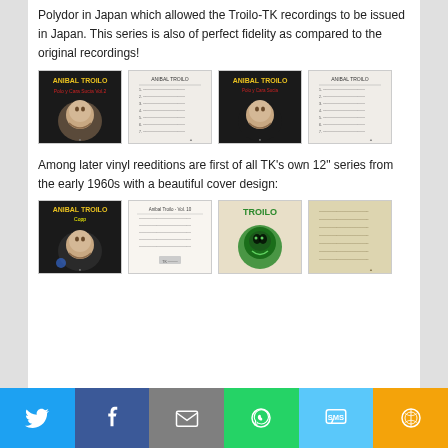Polydor in Japan which allowed the Troilo-TK recordings to be issued in Japan. This series is also of perfect fidelity as compared to the original recordings!
[Figure (photo): Four album images in a row: two front covers and two back covers of Anibal Troilo records (Japanese Polydor reissues)]
Among later vinyl reeditions are first of all TK's own 12" series from the early 1960s with a beautiful cover design:
[Figure (photo): Four album images in a row: two front covers and two back covers of Anibal Troilo records (TK 12" series, early 1960s)]
Social sharing bar with Twitter, Facebook, Email, WhatsApp, SMS, More buttons